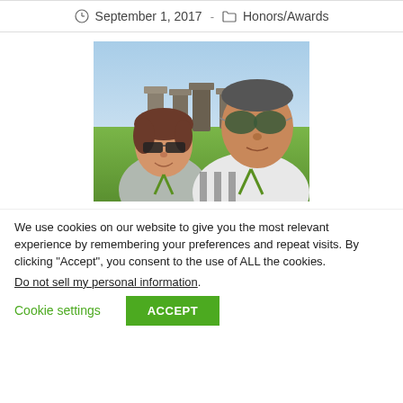September 1, 2017 - Honors/Awards
[Figure (photo): Two people posing in front of Stonehenge on a sunny day. The woman on the left has short brown hair and dark sunglasses; the man on the right wears aviator sunglasses and a striped polo shirt with a lanyard.]
We use cookies on our website to give you the most relevant experience by remembering your preferences and repeat visits. By clicking “Accept”, you consent to the use of ALL the cookies.
Do not sell my personal information.
Cookie settings   ACCEPT